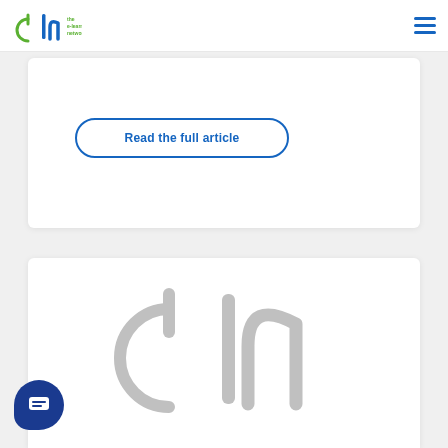eln the e-learning network
Read the full article
[Figure (logo): ELN (e-learning network) logo in grey, large watermark style, displayed in the bottom card area]